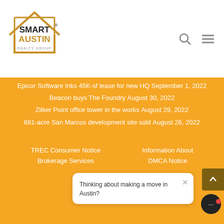[Figure (logo): Smart Austin Realty Group logo — house outline with SMART AUSTIN text]
Epicor Software Inks 45K-sf lease for new HQ September 1, 2022
Beacon buys The Foundry August 30, 2022
Zilker Point office tower in the works August 29, 2022
681-acre San Marcos development site sold August 26, 2022
TREC Consumer Notice
Brokerage Services
Information About
DMCA Notice
Smart Austin Realty
Group
Thinking about making a move in Austin?